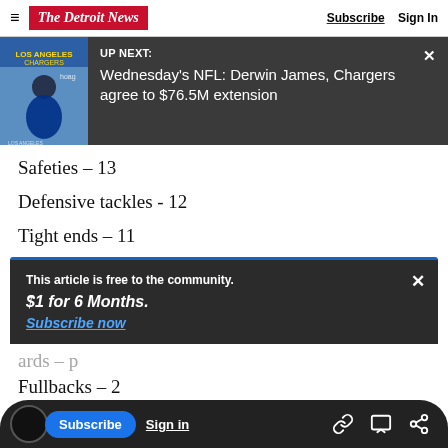The Detroit News — Subscribe  Sign In
[Figure (screenshot): UP NEXT banner with photo of Derwin James in Chargers uniform. Text: UP NEXT: Wednesday's NFL: Derwin James, Chargers agree to $76.5M extension]
Safeties – 13
Defensive tackles - 12
Tight ends – 11
This article is free to the community. $1 for 6 Months. Subscribe now
ards – p
Fullbacks – 2